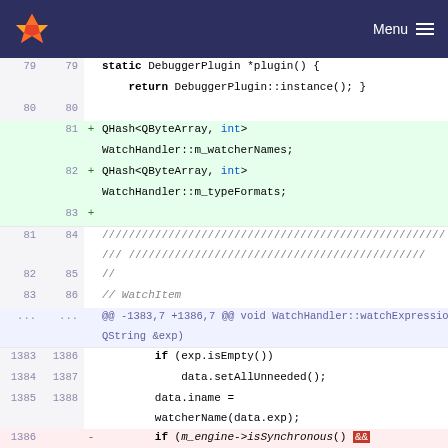GitLab Menu
[Figure (screenshot): Code diff view showing C++ source code changes in a GitLab diff interface. Lines 79-88 show static DebuggerPlugin and WatchHandler code. Added lines 81-83 show QHash declarations. Lines 81-88 show comment blocks and WatchItem comment. A hunk header shows @@ -1383,7 +1386,7 @@ void WatchHandler::watchExpression(const QString &exp). Lines 1383-1388 show if/data code. Line 1386 shows a removed line with if (m_engine->isSynchronous() &&.]